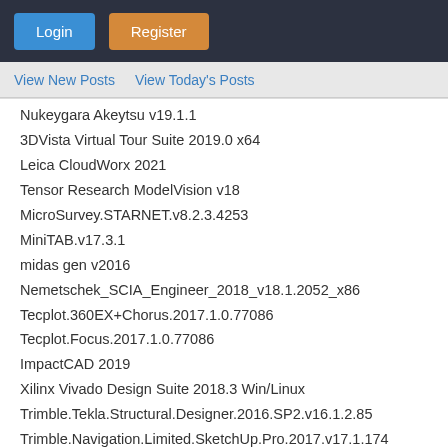[Figure (screenshot): Top navigation bar with Login (blue) and Register (orange) buttons on dark background]
View New Posts   View Today's Posts
Nukeygara Akeytsu v19.1.1
3DVista Virtual Tour Suite 2019.0 x64
Leica CloudWorx 2021
Tensor Research ModelVision v18
MicroSurvey.STARNET.v8.2.3.4253
MiniTAB.v17.3.1
midas gen v2016
Nemetschek_SCIA_Engineer_2018_v18.1.2052_x86
Tecplot.360EX+Chorus.2017.1.0.77086
Tecplot.Focus.2017.1.0.77086
ImpactCAD 2019
Xilinx Vivado Design Suite 2018.3 Win/Linux
Trimble.Tekla.Structural.Designer.2016.SP2.v16.1.2.85
Trimble.Navigation.Limited.SketchUp.Pro.2017.v17.1.174
VERO.WORKNC.V2021
epoffice v2021
MSC Adams 2019